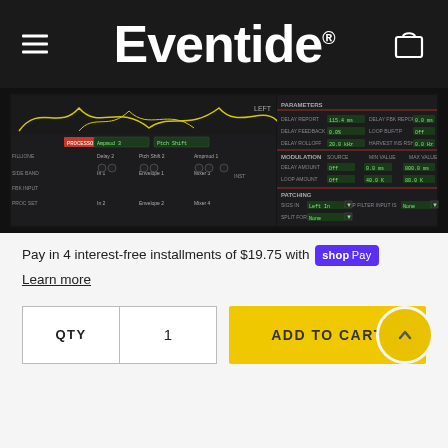Eventide
[Figure (screenshot): Screenshot of Eventide audio plugin interface showing signal routing, parameters panel with delay and modulation controls, and patching section on a dark background]
Pay in 4 interest-free installments of $19.75 with Shop Pay
Learn more
QTY 1 ADD TO CART